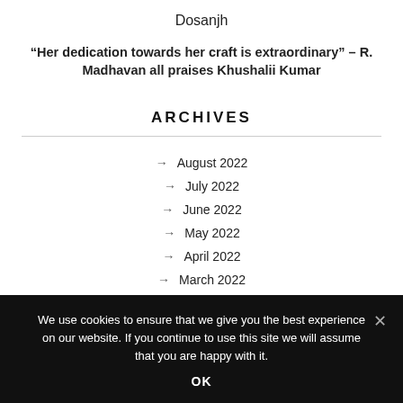Dosanjh
“Her dedication towards her craft is extraordinary” – R. Madhavan all praises Khushalii Kumar
ARCHIVES
August 2022
July 2022
June 2022
May 2022
April 2022
March 2022
February 2022
We use cookies to ensure that we give you the best experience on our website. If you continue to use this site we will assume that you are happy with it.
OK